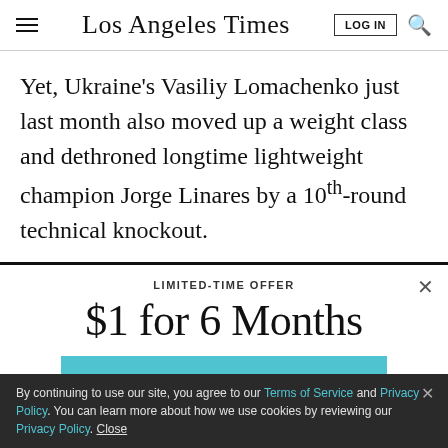Los Angeles Times
Yet, Ukraine's Vasiliy Lomachenko just last month also moved up a weight class and dethroned longtime lightweight champion Jorge Linares by a 10th-round technical knockout.
LIMITED-TIME OFFER
$1 for 6 Months
SUBSCRIBE NOW
By continuing to use our site, you agree to our Terms of Service and Privacy Policy. You can learn more about how we use cookies by reviewing our Privacy Policy. Close